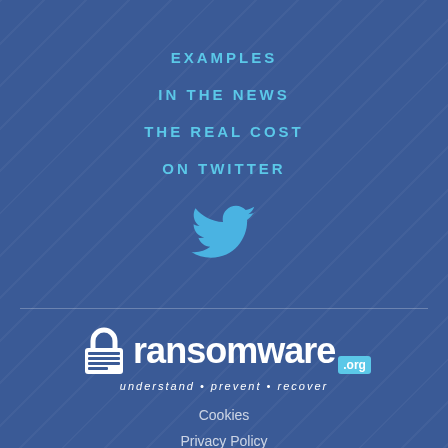EXAMPLES
IN THE NEWS
THE REAL COST
ON TWITTER
[Figure (logo): Twitter bird logo in blue]
[Figure (logo): 2ransomware.org logo with padlock icon and tagline: understand · prevent · recover]
Cookies
Privacy Policy
Terms & Conditions